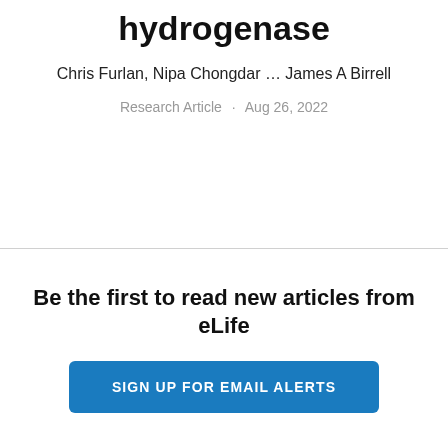hydrogenase
Chris Furlan, Nipa Chongdar … James A Birrell
Research Article · Aug 26, 2022
Be the first to read new articles from eLife
SIGN UP FOR EMAIL ALERTS